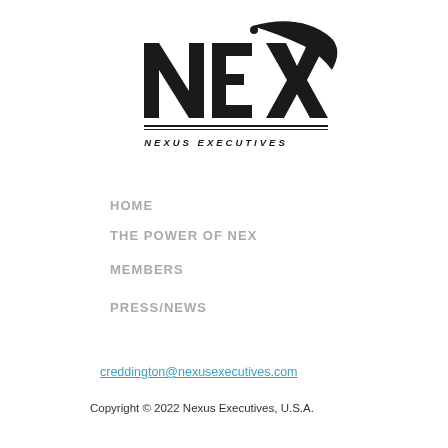[Figure (logo): NEX Nexus Executives logo — bold black NEX lettering with a swoosh arc and dot above, double horizontal rule beneath, 'NEXUS EXECUTIVES' text in spaced italic caps below the rule]
HOME
THE POWER OF NEX
MEMBERS
PRESS/NEWS
creddington@nexusexecutives.com
Copyright © 2022 Nexus Executives, U.S.A.